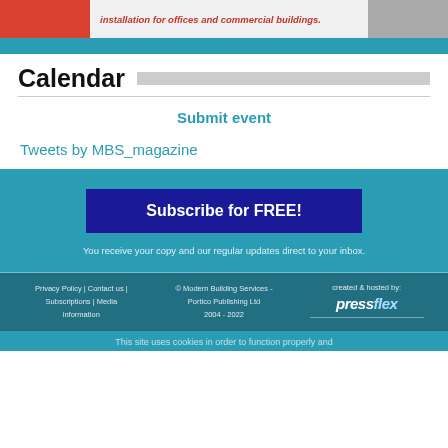[Figure (other): Banner advertisement with red block on left, italic red text 'installation for offices and commercial buildings.' in center, and grey image on right]
Calendar
Submit event
Tweets by MBS_magazine
Subscribe for FREE!
You receive your copy and our regular updates direct to your inbox.
Privacy Policy | Contact us | Subscriptions | Media information   © Modern Building Services - Portico Publishing Ltd 2004 - 2022   created & hosted by: pressflex
This site uses cookies in order to function properly and